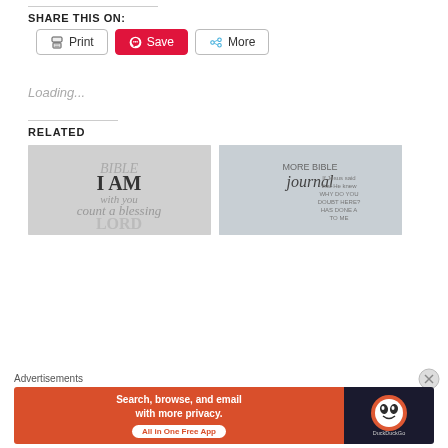SHARE THIS ON:
[Figure (screenshot): Share buttons: Print, Save (Pinterest), More]
Loading...
RELATED
[Figure (photo): Two related article thumbnail images showing Bible journal handwriting]
Advertisements
[Figure (screenshot): DuckDuckGo advertisement banner: Search, browse, and email with more privacy. All in One Free App]